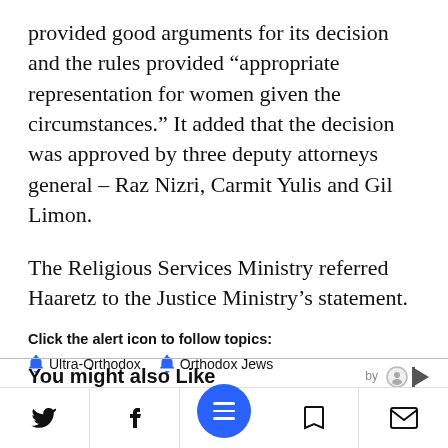provided good arguments for its decision and the rules provided “appropriate representation for women given the circumstances.” It added that the decision was approved by three deputy attorneys general – Raz Nizri, Carmit Yulis and Gil Limon.
The Religious Services Ministry referred Haaretz to the Justice Ministry’s statement.
Click the alert icon to follow topics:
🔔 Ultra-Orthodox
🔔 Orthodox Jews
You might also Like